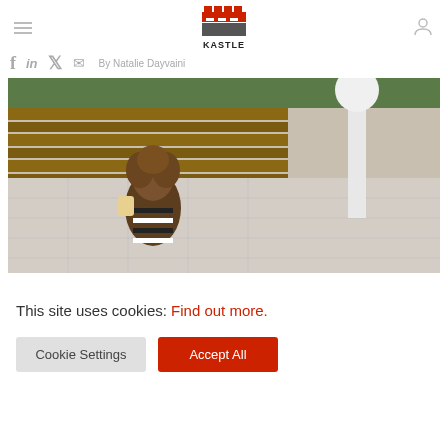Kastle — navigation header with hamburger menu, logo, and user icon
By Natalie Dayvaini
[Figure (photo): Aerial/overhead view of a woman with curly brown hair holding a drink, standing on an outdoor patio area with wooden benches, tile flooring, and greenery. A security camera or lamp post is visible on the right side.]
This site uses cookies: Find out more.
Cookie Settings
Accept All